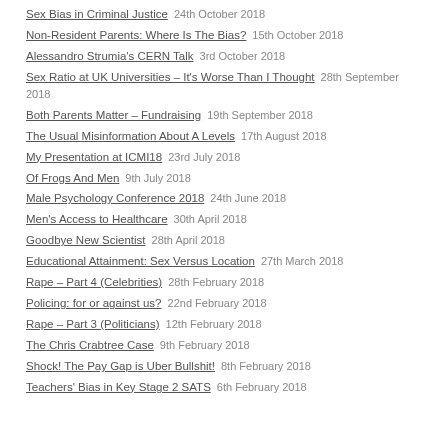Sex Bias in Criminal Justice   24th October 2018
Non-Resident Parents: Where Is The Bias?   15th October 2018
Alessandro Strumia's CERN Talk   3rd October 2018
Sex Ratio at UK Universities – It's Worse Than I Thought   28th September 2018
Both Parents Matter – Fundraising   19th September 2018
The Usual Misinformation About A Levels   17th August 2018
My Presentation at ICMI18   23rd July 2018
Of Frogs And Men   9th July 2018
Male Psychology Conference 2018   24th June 2018
Men's Access to Healthcare   30th April 2018
Goodbye New Scientist   28th April 2018
Educational Attainment: Sex Versus Location   27th March 2018
Rape – Part 4 (Celebrities)   28th February 2018
Policing: for or against us?   22nd February 2018
Rape – Part 3 (Politicians)   12th February 2018
The Chris Crabtree Case   9th February 2018
Shock! The Pay Gap is Uber Bullshit!   8th February 2018
Teachers' Bias in Key Stage 2 SATS   6th February 2018